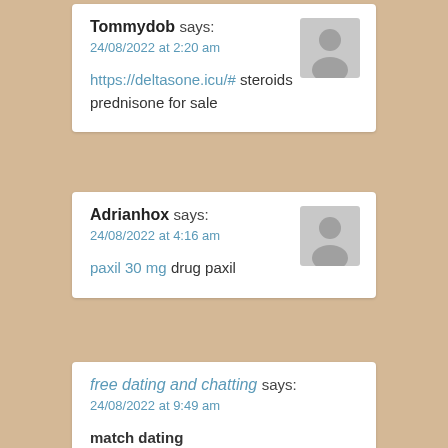Tommydob says: 24/08/2022 at 2:20 am
https://deltasone.icu/# steroids prednisone for sale
Adrianhox says: 24/08/2022 at 4:16 am
paxil 30 mg drug paxil
free dating and chatting says: 24/08/2022 at 9:49 am
match dating https://freephotodating.com/